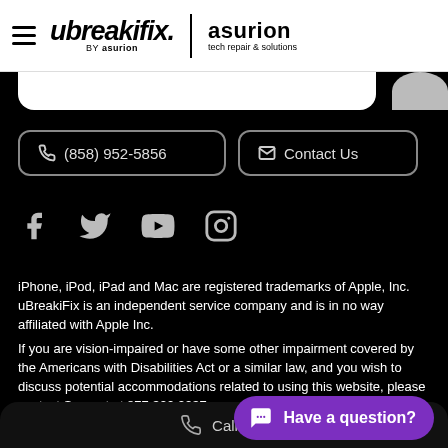[Figure (logo): ubreakifix by asurion logo with hamburger menu icon on the left, vertical divider, and asurion tech repair & solutions logo on the right]
(858) 952-5856
Contact Us
[Figure (other): Social media icons: Facebook, Twitter, YouTube, Instagram]
iPhone, iPod, iPad and Mac are registered trademarks of Apple, Inc. uBreakiFix is an independent service company and is in no way affiliated with Apple Inc.
If you are vision-impaired or have some other impairment covered by the Americans with Disabilities Act or a similar law, and you wish to discuss potential accommodations related to using this website, please contact Support at 877.320.2237 or support@ubreakifix.com
Call: (85...
Have a question?